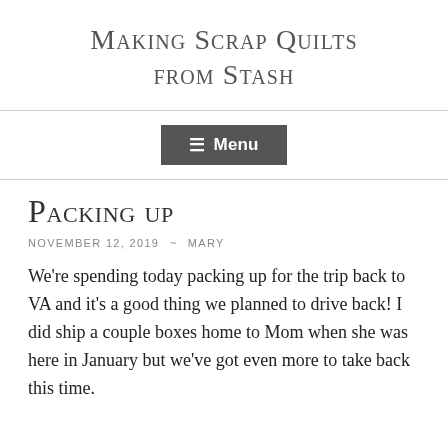Making Scrap Quilts from Stash
☰ Menu
Packing up
NOVEMBER 12, 2019  ~  MARY
We're spending today packing up for the trip back to VA and it's a good thing we planned to drive back! I did ship a couple boxes home to Mom when she was here in January but we've got even more to take back this time.